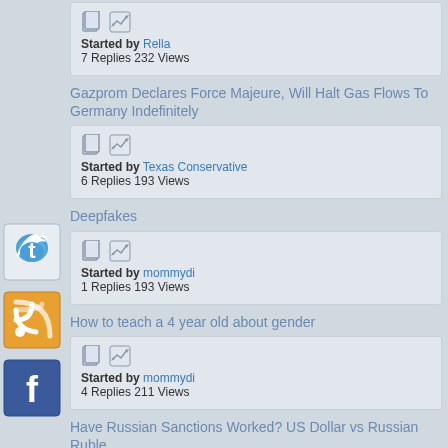Started by Rella
7 Replies 232 Views
Gazprom Declares Force Majeure, Will Halt Gas Flows To Germany Indefinitely
Started by Texas Conservative
6 Replies 193 Views
Deepfakes
Started by mommydi
1 Replies 193 Views
How to teach a 4 year old about gender
Started by mommydi
4 Replies 211 Views
Have Russian Sanctions Worked? US Dollar vs Russian Ruble
[Figure (logo): Twitter bird logo icon in blue/white square]
[Figure (logo): RSS feed logo icon in orange/white square]
[Figure (logo): Facebook 'f' logo icon in blue/white square]